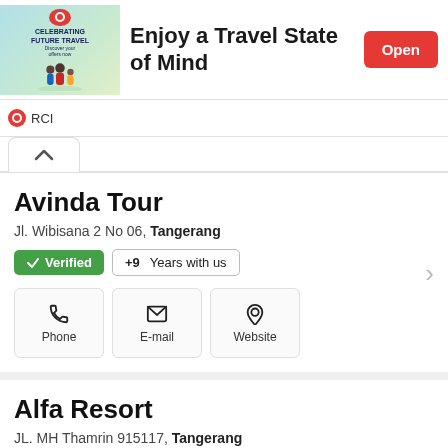[Figure (infographic): RCI advertisement banner with travel family image, text 'Enjoy a Travel State of Mind', and Open button]
Avinda Tour
Jl. Wibisana 2 No 06, Tangerang
✓ Verified  +9 Years with us
Phone  E-mail  Website
Alfa Resort
JL. MH Thamrin 915117, Tangerang
Phone  Map